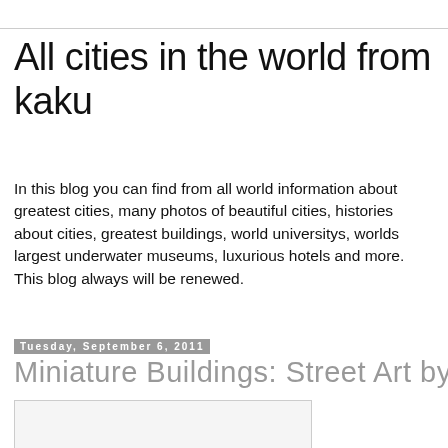All cities in the world from kaku
In this blog you can find from all world information about greatest cities, many photos of beautiful cities, histories about cities, greatest buildings, world universitys, worlds largest underwater museums, luxurious hotels and more. This blog always will be renewed.
Tuesday, September 6, 2011
Miniature Buildings: Street Art by EVOL
[Figure (photo): Partially visible image placeholder at bottom of page]